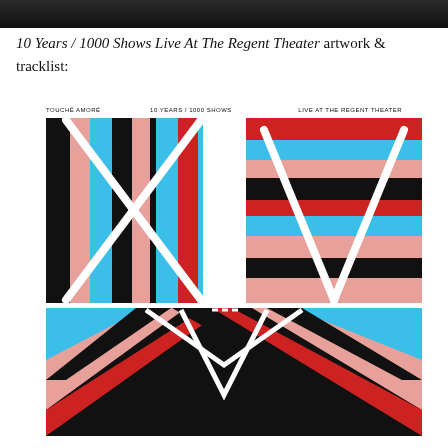[Figure (photo): Dark banner image at top of page, partially cropped]
10 Years / 1000 Shows Live At The Regent Theater artwork & tracklist:
[Figure (illustration): Album artwork for Touché Amoré '10 Years / 1000 Shows Live At The Regent Theater' showing colorful horizontal and vertical stripes in black, red, cyan/blue, and pink/salmon colors forming a geometric pattern with white diagonal lines creating an X shape across two panels (top left and top right), and a bottom panel with diagonal stripe pattern converging toward center. Header text reads: TOUCHÉ AMORÉ | 10 YEARS / 1000 SHOWS | LIVE AT THE REGENT THEATER]